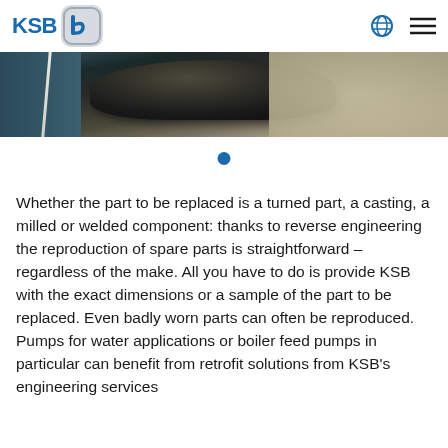KSB logo and navigation header
[Figure (photo): Close-up photo of a metallic pump component (impeller or bowl) being processed, partially visible with granular material in background]
[Figure (other): Carousel dot indicator — a single filled blue circle indicating current slide position]
Whether the part to be replaced is a turned part, a casting, a milled or welded component: thanks to reverse engineering the reproduction of spare parts is straightforward – regardless of the make. All you have to do is provide KSB with the exact dimensions or a sample of the part to be replaced. Even badly worn parts can often be reproduced. Pumps for water applications or boiler feed pumps in particular can benefit from retrofit solutions from KSB's engineering services